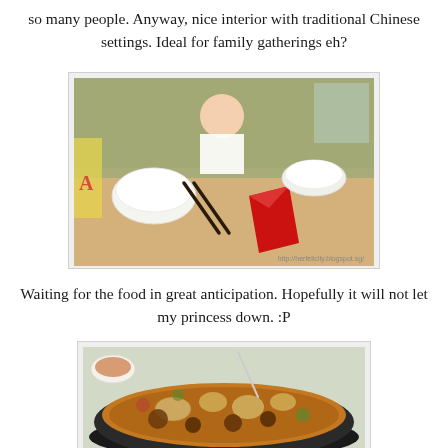so many people. Anyway, nice interior with traditional Chinese settings. Ideal for family gatherings eh?
[Figure (photo): Photo of a Chinese restaurant table setting with white bowls, black chopsticks, a red packet, and a woman seated in the background. Watermark: http://herfelicity.blogspot.sg/]
Waiting for the food in great anticipation. Hopefully it will not let my princess down. :P
[Figure (photo): Photo of a Chinese dish in a black hotpot/wok containing tofu, mushrooms, vegetables and sauce, with a small bowl of dipping sauce in the background.]